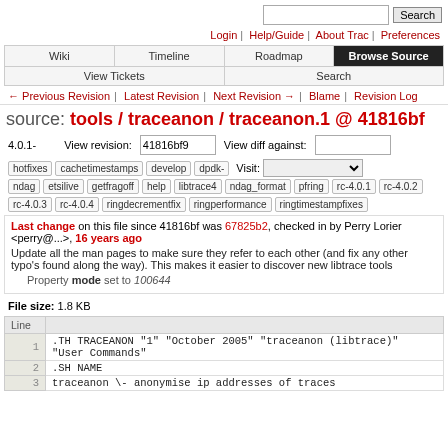Search [search button]
Login | Help/Guide | About Trac | Preferences
Wiki | Timeline | Roadmap | Browse Source | View Tickets | Search
← Previous Revision | Latest Revision | Next Revision → | Blame | Revision Log
source: tools / traceanon / traceanon.1 @ 41816bf
4.0.1-  View revision: 41816bf9  View diff against:
hotfixes cachetimestamps develop dpdk- Visit:
ndag etsilive getfragoff help libtrace4 ndag_format pfring rc-4.0.1 rc-4.0.2 rc-4.0.3 rc-4.0.4 ringdecrementfix ringperformance ringtimestampfixes
Last change on this file since 41816bf was 67825b2, checked in by Perry Lorier <perry@...>, 16 years ago
Update all the man pages to make sure they refer to each other (and fix any other typo's found along the way). This makes it easier to discover new libtrace tools
Property mode set to 100644
File size: 1.8 KB
| Line |  |
| --- | --- |
| 1 | .TH TRACEANON "1" "October 2005" "traceanon (libtrace)"
"User Commands" |
| 2 | .SH NAME |
| 3 | traceanon \- anonymise ip addresses of traces |